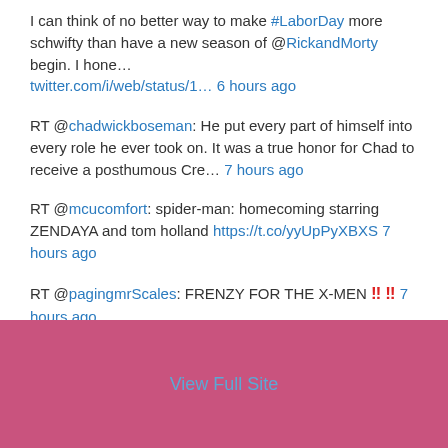I can think of no better way to make #LaborDay more schwifty than have a new season of @RickandMorty begin. I hone… twitter.com/i/web/status/1… 6 hours ago
RT @chadwickboseman: He put every part of himself into every role he ever took on. It was a true honor for Chad to receive a posthumous Cre… 7 hours ago
RT @mcucomfort: spider-man: homecoming starring ZENDAYA and tom holland https://t.co/yyUpPyXBXS 7 hours ago
RT @pagingmrScales: FRENZY FOR THE X-MEN ‼ ‼ 7 hours ago
Follow @MarvelMaster616
View Full Site